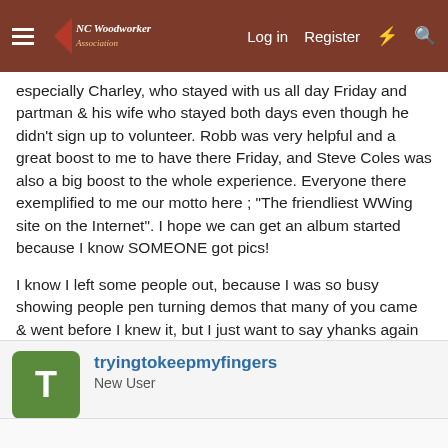NC Woodworker - Log in Register
especially Charley, who stayed with us all day Friday and partman & his wife who stayed both days even though he didn't sign up to volunteer. Robb was very helpful and a great boost to me to have there Friday, and Steve Coles was also a big boost to the whole experience. Everyone there exemplified to me our motto here ; "The friendliest WWing site on the Internet". I hope we can get an album started because I know SOMEONE got pics!

I know I left some people out, because I was so busy showing people pen turning demos that many of you came & went before I knew it, but I just want to say yhanks again to all for making this event a success IMHO. :icon_thum
Last edited: Oct 22, 2011
tryingtokeepmyfingers
New User